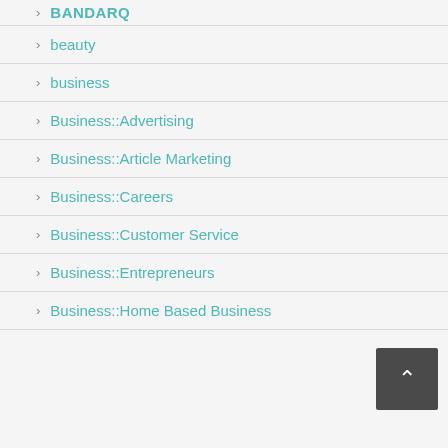BANDARQ
beauty
business
Business::Advertising
Business::Article Marketing
Business::Careers
Business::Customer Service
Business::Entrepreneurs
Business::Home Based Business